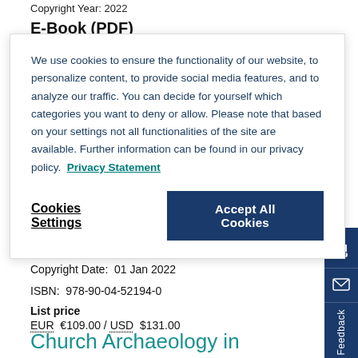Copyright Year: 2022
E-Book (PDF)
We use cookies to ensure the functionality of our website, to personalize content, to provide social media features, and to analyze our traffic. You can decide for yourself which categories you want to deny or allow. Please note that based on your settings not all functionalities of the site are available. Further information can be found in our privacy policy. Privacy Statement
Cookies Settings | Accept All Cookies
Publication date: 20 Oct 2022
Copyright Date: 01 Jan 2022
ISBN: 978-90-04-52194-0
List price
EUR €109.00 / USD $131.00
Church Archaeology in